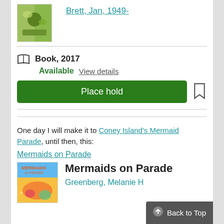[Figure (photo): Book cover thumbnail for a children's book]
Brett, Jan, 1949-
Book, 2017
Available  View details
Place hold
One day I will make it to Coney Island's Mermaid Parade, until then, this:
Mermaids on Parade
Mermaids on Parade
Greenberg, Melanie H
[Figure (photo): Book cover for Mermaids on Parade showing colorful mermaids]
Back to Top